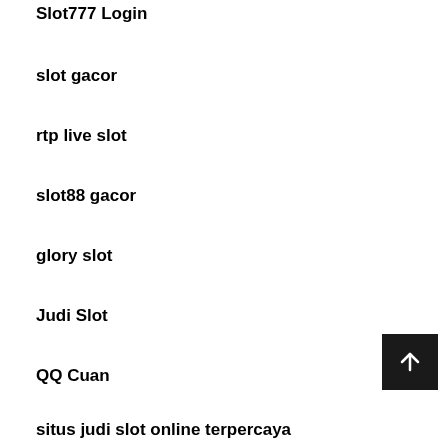Slot777 Login
slot gacor
rtp live slot
slot88 gacor
glory slot
Judi Slot
QQ Cuan
situs judi slot online terpercaya